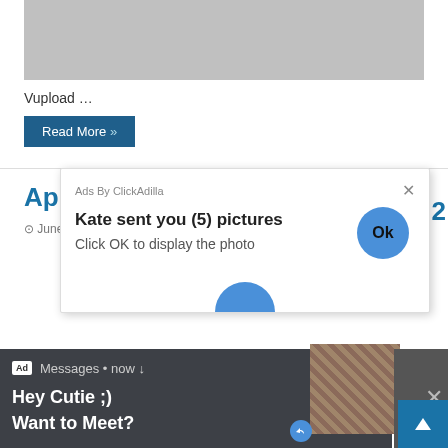[Figure (screenshot): Gray placeholder image area at top of page]
Vupload …
Read More »
Apr
⊙ June
[Figure (screenshot): ClickAdilla popup ad: 'Kate sent you (5) pictures – Click OK to display the photo' with a blue Ok circle button]
[Figure (screenshot): Dark notification bar ad: 'Ad Messages • now ↓ – Hey Cutie ;) Want to Meet?' with thumbnail image and close button]